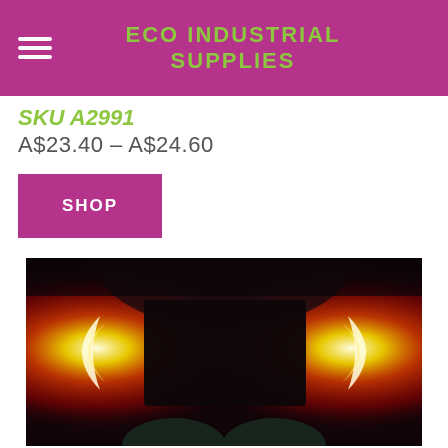ECO INDUSTRIAL SUPPLIES
SKU A2991
A$23.40 – A$24.60
SHOP
[Figure (photo): Dark interior photo showing red ambient lighting from both sides illuminating what appears to be an industrial curing or heating oven interior with a dark rectangular panel in the center, and a glowing light source on each side creating a dramatic red/orange glow effect. A scroll-to-top button (cyan circle with upward chevron) overlays the bottom-right corner.]